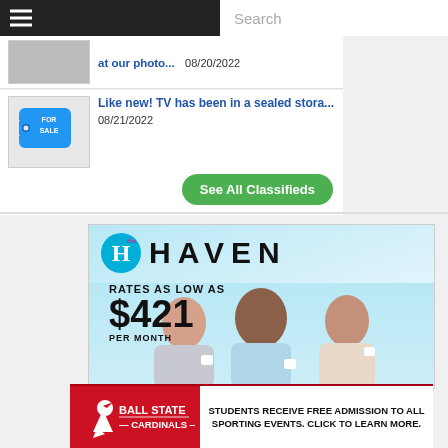Navigation bar with hamburger menu and Search box
at our photo... 08/20/2022
Like new! TV has been in a sealed stora... 08/21/2022
See All Classifieds
[Figure (photo): The Haven apartment advertisement showing three young women laughing together on a couch with text: RATES AS LOW AS $421 PER MONTH]
[Figure (photo): Ball State Cardinals advertisement: STUDENTS RECEIVE FREE ADMISSION TO ALL SPORTING EVENTS. CLICK TO LEARN MORE.]